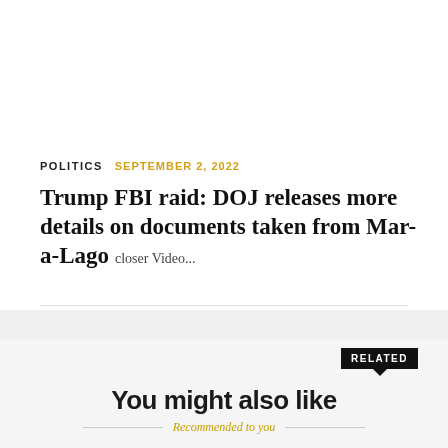POLITICS  SEPTEMBER 2, 2022
Trump FBI raid: DOJ releases more details on documents taken from Mar-a-Lago  closer Video...
- Advertisement -
RELATED
You might also like
Recommended to you